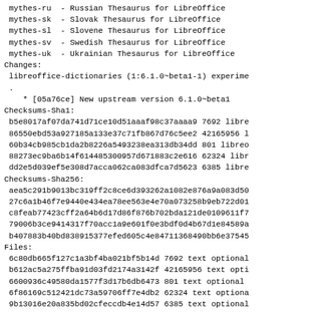mythes-ru  - Russian Thesaurus for LibreOffice
 mythes-sk  - Slovak Thesaurus for LibreOffice
 mythes-sl  - Slovene Thesaurus for LibreOffice
 mythes-sv  - Swedish Thesaurus for LibreOffice
 mythes-uk  - Ukrainian Thesaurus for LibreOffice
Changes:
 libreoffice-dictionaries (1:6.1.0~beta1-1) experime
 .
    * [05a76ce] New upstream version 6.1.0~beta1
Checksums-Sha1:
 b5e8017af07da741d71ce10d51aaaf98c37aaaa9 7692 libre
 86550ebd53a927185a133e37c71fb867d76c5ee2 42165956 l
 60b34cb985cb1da2b8226a5493238ea313db34dd 801 libreo
 88273ec9ba6b14f614485300957d671883c2e616 62324 libr
 dd2e5d039ef5e308d7acca062ca083dfca7d5623 6385 libre
Checksums-Sha256:
 aea5c291b9013bc319ff2c8ce6d393262a1082e876a9a083d50
 27c6a1b46f7e9440e434ea78ee563e4e70a073258b9eb722d01
 c8feab77423cff2a64b6d17d86f876b702bda121de0109611f7
 79006b3ce9414317f70acc1a9e601f0e3bdf0d4b67d1e84589a
 b407883b40bd838915377efed605c4e84711368490bb6e37545
Files:
 6c80db665f127c1a3bf4ba021bf5b14d 7692 text optional
 b612ac5a275ffba91d03fd2174a3142f 42165956 text opti
 6600936c49580da1577f3d17b6db6473 801 text optional
 6f86169c512421dc73a59706ff7e4db2 62324 text optiona
 9b13016e20a835bd02cfeccdb4e14d57 6385 text optional